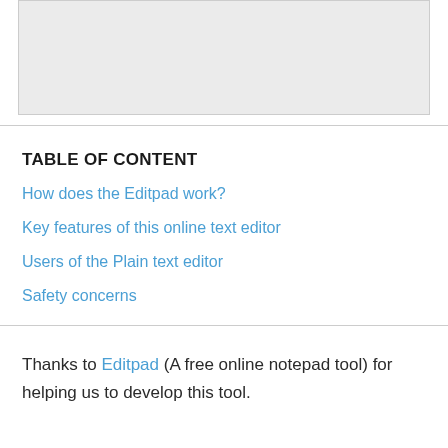[Figure (other): Gray empty box at the top of the page]
TABLE OF CONTENT
How does the Editpad work?
Key features of this online text editor
Users of the Plain text editor
Safety concerns
Thanks to Editpad (A free online notepad tool) for helping us to develop this tool.